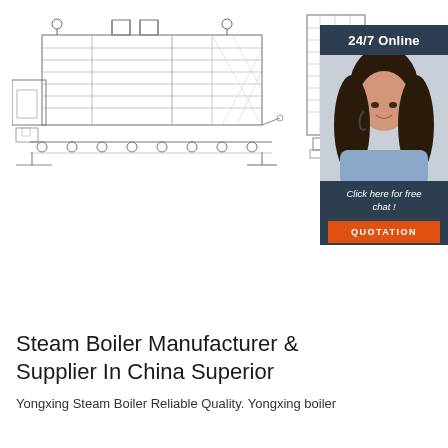[Figure (engineering-diagram): Technical schematic drawing of a steam boiler system shown in side/cross-section view, with mechanical components including conveyor, combustion chamber, heat exchangers, and structural frame. Two views shown side by side.]
[Figure (photo): 24/7 Online customer service panel showing a woman wearing a headset smiling, with dark navy background, text 'Click here for free chat!' and an orange QUOTATION button.]
Steam Boiler Manufacturer & Supplier In China Superior
Yongxing Steam Boiler Reliable Quality. Yongxing boiler